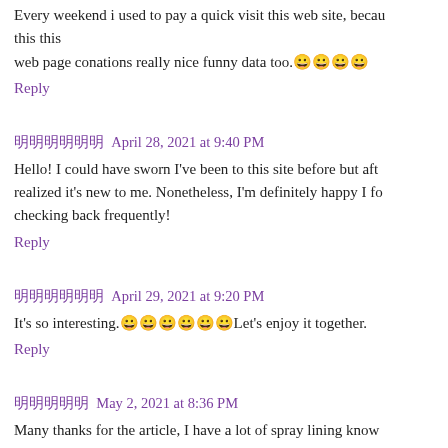Every weekend i used to pay a quick visit this web site, because this this web page conations really nice funny data too.😀😀😀😀
Reply
明明明明明明  April 28, 2021 at 9:40 PM
Hello! I could have sworn I've been to this site before but after realized it's new to me. Nonetheless, I'm definitely happy I found it and I'll be checking back frequently!
Reply
明明明明明明  April 29, 2021 at 9:20 PM
It's so interesting.😀😀😀😀😀😀Let's enjoy it together.
Reply
明明明明明  May 2, 2021 at 8:36 PM
Many thanks for the article, I have a lot of spray lining know